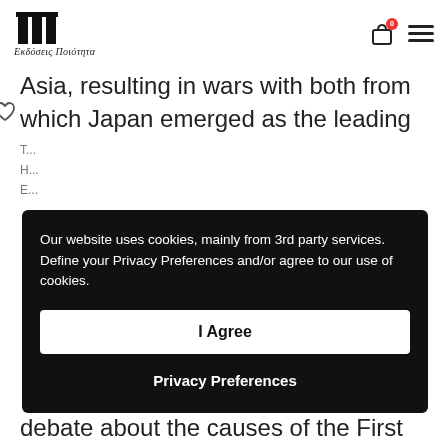Ekdoseis Poiornta logo with cart (0) and menu
Asia, resulting in wars with both from which Japan emerged as the leading
debate about the causes of the First
Our website uses cookies, mainly from 3rd party services. Define your Privacy Preferences and/or agree to our use of cookies.
I Agree
Privacy Preferences